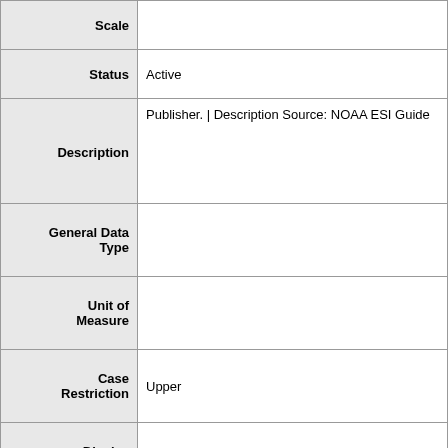| Field | Value |
| --- | --- |
| Scale |  |
| Status | Active |
| Description | Publisher.  |  Description Source: NOAA ESI Guide |
| General Data Type |  |
| Unit of Measure |  |
| Case Restriction | Upper |
| Display Example |  |
| Format Mask |  |
| Null Value |  |
| Null Value Meaning |  |